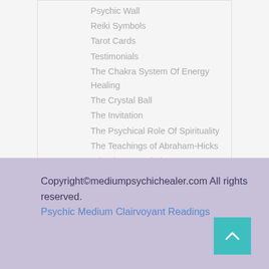Psychic Wall
Reiki Symbols
Tarot Cards
Testimonials
The Chakra System Of Energy Healing
The Crystal Ball
The Invitation
The Psychical Role Of Spirituality
The Teachings of Abraham-Hicks
What is Feng Shui
Young Living Essential Oils
Copyright©mediumpsychichealer.com All rights reserved.
Psychic Medium Clairvoyant Readings